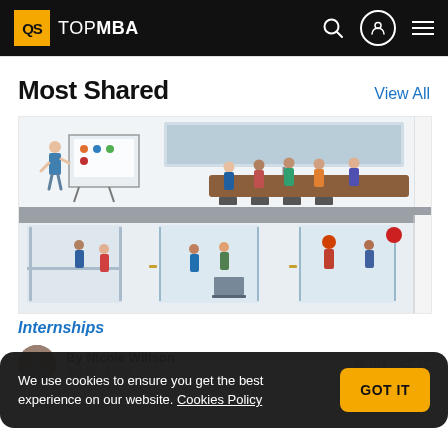QS TOPMBA
Most Shared
View All
[Figure (illustration): Illustration of office/classroom scenes showing people in meetings, presentations, and work environments across two floors of a building.]
Internships
By Nicole Willson
Jul 22, 2022
0M  72
We use cookies to ensure you get the best experience on our website. Cookies Policy
GOT IT